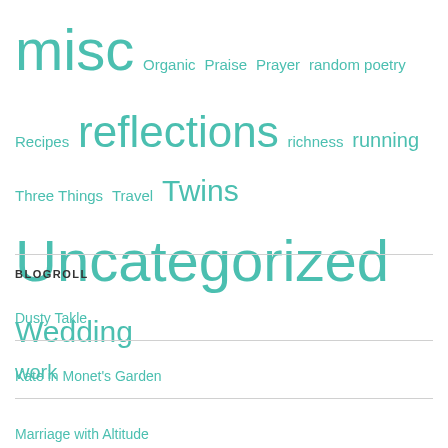misc Organic Praise Prayer random poetry Recipes reflections richness running Three Things Travel Twins Uncategorized Wedding work
BLOGROLL
Dusty Takle
Kate in Monet's Garden
Marriage with Altitude